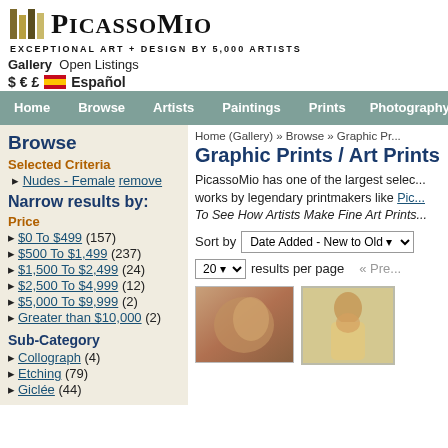[Figure (logo): PicassoMio logo with colored bar icon and serif text, tagline: EXCEPTIONAL ART + DESIGN BY 5,000 ARTISTS]
Gallery  Open Listings
$ € £  🇪🇸 Español
Home  Browse  Artists  Paintings  Prints  Photography
Home (Gallery) » Browse » Graphic Pr...
Graphic Prints / Art Prints
PicassoMio has one of the largest selec... works by legendary printmakers like Pic... To See How Artists Make Fine Art Prints...
Sort by  Date Added - New to Old ▾
20 ▾  results per page  « Pre...
Browse
Selected Criteria
▸ Nudes - Female  remove
Narrow results by:
Price
$0 To $499 (157)
$500 To $1,499 (237)
$1,500 To $2,499 (24)
$2,500 To $4,999 (12)
$5,000 To $9,999 (2)
Greater than $10,000 (2)
Sub-Category
Collograph (4)
Etching (79)
Giclée (44)
[Figure (photo): Thumbnail of a graphic print showing a female nude figure with warm tones]
[Figure (photo): Thumbnail of a painting of a seated dark-haired woman in a yellowish background]